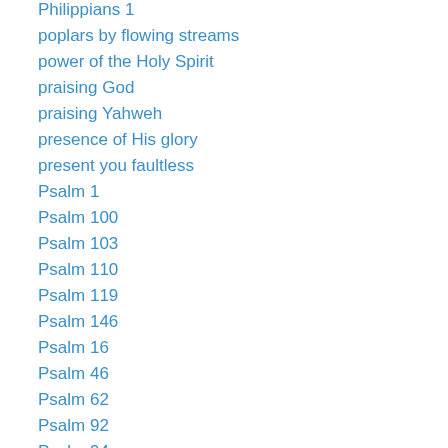Philippians 1
poplars by flowing streams
power of the Holy Spirit
praising God
praising Yahweh
presence of His glory
present you faultless
Psalm 1
Psalm 100
Psalm 103
Psalm 110
Psalm 119
Psalm 146
Psalm 16
Psalm 46
Psalm 62
Psalm 92
Psalm 94
reconciled to God
Redeemer